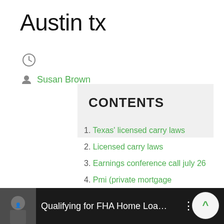Austin tx
[Figure (other): Clock icon]
Susan Brown
CONTENTS
1. Texas' licensed carry laws
2. Licensed carry laws
3. Earnings conference call july 26
4. Pmi (private mortgage
5. Mortgage broker serving
[Figure (screenshot): Video bar at bottom showing 'Qualifying for FHA Home Loa...' with thumbnail of person in hat]